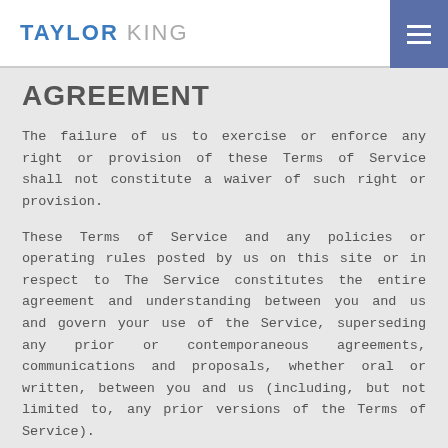TAYLOR KING
AGREEMENT
The failure of us to exercise or enforce any right or provision of these Terms of Service shall not constitute a waiver of such right or provision.
These Terms of Service and any policies or operating rules posted by us on this site or in respect to The Service constitutes the entire agreement and understanding between you and us and govern your use of the Service, superseding any prior or contemporaneous agreements, communications and proposals, whether oral or written, between you and us (including, but not limited to, any prior versions of the Terms of Service).
Any ambiguities in the interpretation of these Terms of